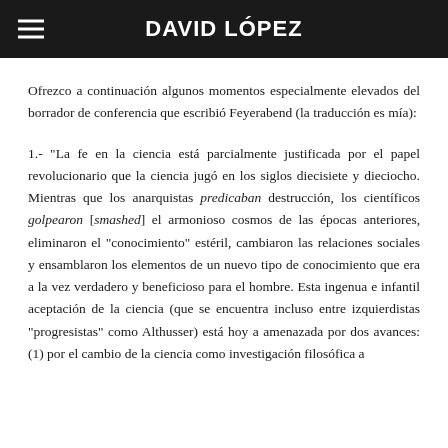DAVID LÓPEZ
Ofrezco a continuación algunos momentos especialmente elevados del borrador de conferencia que escribió Feyerabend (la traducción es mía):
1.- "La fe en la ciencia está parcialmente justificada por el papel revolucionario que la ciencia jugó en los siglos diecisiete y dieciocho. Mientras que los anarquistas predicaban destrucción, los científicos golpearon [smashed] el armonioso cosmos de las épocas anteriores, eliminaron el "conocimiento" estéril, cambiaron las relaciones sociales y ensamblaron los elementos de un nuevo tipo de conocimiento que era a la vez verdadero y beneficioso para el hombre. Esta ingenua e infantil aceptación de la ciencia (que se encuentra incluso entre izquierdistas "progresistas" como Althusser) está hoy a amenazada por dos avances: (1) por el cambio de la ciencia como investigación filosófica a